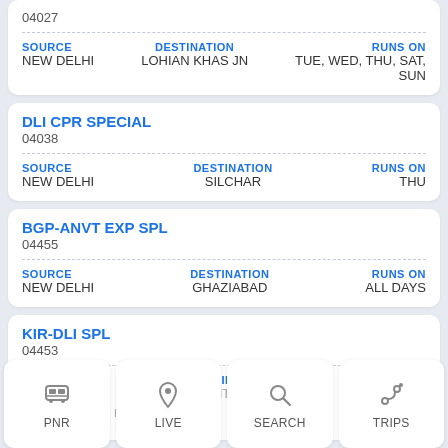04027
| SOURCE | DESTINATION | RUNS ON |
| --- | --- | --- |
| NEW DELHI | LOHIAN KHAS JN | TUE, WED, THU, SAT, SUN |
DLI CPR SPECIAL
04038
| SOURCE | DESTINATION | RUNS ON |
| --- | --- | --- |
| NEW DELHI | SILCHAR | THU |
BGP-ANVT EXP SPL
04455
| SOURCE | DESTINATION | RUNS ON |
| --- | --- | --- |
| NEW DELHI | GHAZIABAD | ALL DAYS |
KIR-DLI SPL
04453
| SOURCE | DESTINATION | RUNS ON |
| --- | --- | --- |
| NEW DELHI | ROHTAK JN | ALL DAYS |
PNR | LIVE | SEARCH | TRIPS